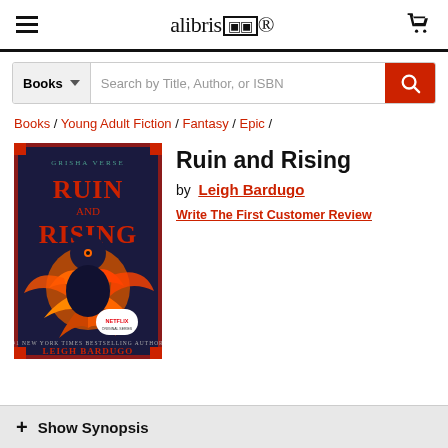alibris
Books | Search by Title, Author, or ISBN
Books / Young Adult Fiction / Fantasy / Epic /
[Figure (illustration): Book cover of 'Ruin and Rising' by Leigh Bardugo. Dark navy background with an ornate red and orange firebird (phoenix/rooster) illustration. Text reads 'Grisha verse' at top, 'Ruin and Rising' in large letters, Netflix badge at bottom right, 'New York Times Bestselling Author Leigh Bardugo' at bottom.]
Ruin and Rising
by  Leigh Bardugo
Write The First Customer Review
+ Show Synopsis